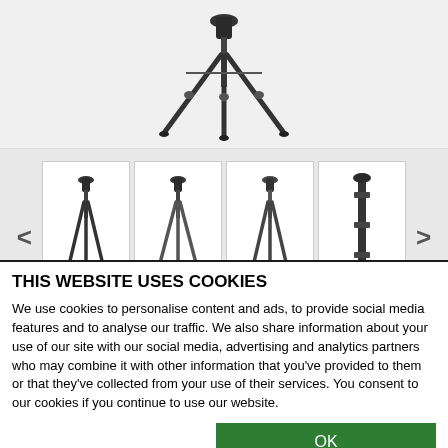[Figure (photo): Main product image of a camera tripod on a light grey background]
[Figure (photo): Thumbnail strip showing 4 camera tripod product images with left and right navigation arrows]
QTY: < 1 > $359.99 Buy It Now
THIS WEBSITE USES COOKIES
We use cookies to personalise content and ads, to provide social media features and to analyse our traffic. We also share information about your use of our site with our social media, advertising and analytics partners who may combine it with other information that you've provided to them or that they've collected from your use of their services. You consent to our cookies if you continue to use our website.
OK
Necessary  Preferences  Statistics  Marketing  Show details